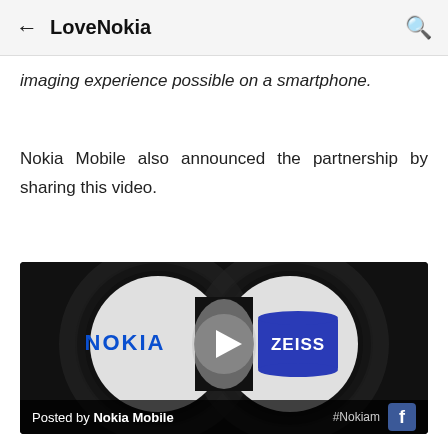LoveNokia
imaging experience possible on a smartphone.
Nokia Mobile also announced the partnership by sharing this video.
[Figure (screenshot): Video thumbnail showing Nokia and ZEISS logos with a play button, set against a dark swirling binocular-shaped background. Footer shows 'Posted by Nokia Mobile' and Facebook icon with #Nokiam hashtag.]